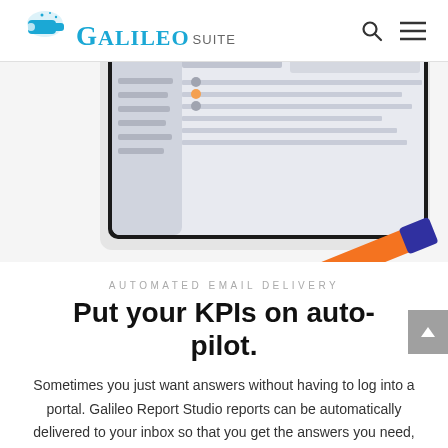GALILEO SUITE
[Figure (screenshot): Screenshot of a tablet device showing a dashboard application interface, with an orange and blue highlighter marker in the foreground]
AUTOMATED EMAIL DELIVERY
Put your KPIs on auto-pilot.
Sometimes you just want answers without having to log into a portal. Galileo Report Studio reports can be automatically delivered to your inbox so that you get the answers you need,